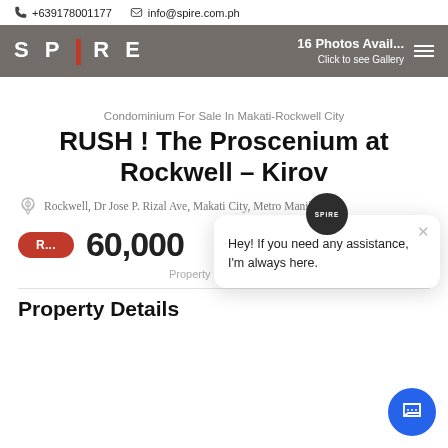+639178001177  info@spire.com.ph  SPIRE  16 Photos Available Click to see Gallery
Condominium For Sale In Makati-Rockwell City
RUSH ! The Proscenium at Rockwell – Kirov
Rockwell, Dr Jose P. Rizal Ave, Makati City, Metro Manila
60,000
Property ID: DL-27324
Hey! If you need any assistance, I'm always here.
Property Details